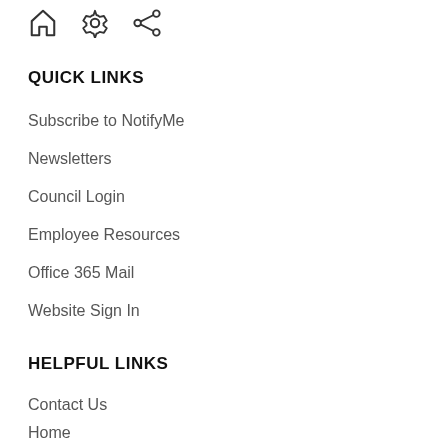[Figure (other): Three icons: home, settings/gear, and share]
QUICK LINKS
Subscribe to NotifyMe
Newsletters
Council Login
Employee Resources
Office 365 Mail
Website Sign In
HELPFUL LINKS
Contact Us
Home
Site Map